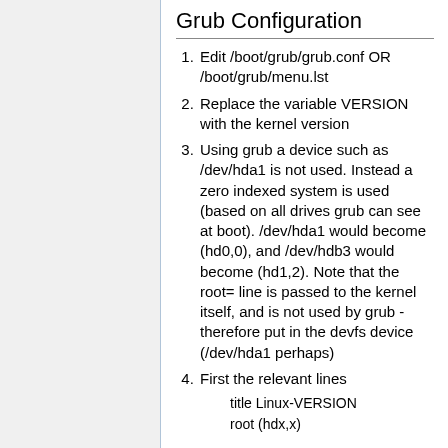Grub Configuration
Edit /boot/grub/grub.conf OR /boot/grub/menu.lst
Replace the variable VERSION with the kernel version
Using grub a device such as /dev/hda1 is not used. Instead a zero indexed system is used (based on all drives grub can see at boot). /dev/hda1 would become (hd0,0), and /dev/hdb3 would become (hd1,2). Note that the root= line is passed to the kernel itself, and is not used by grub - therefore put in the devfs device (/dev/hda1 perhaps)
First the relevant lines
    title Linux-VERSION
    root (hdx,x)